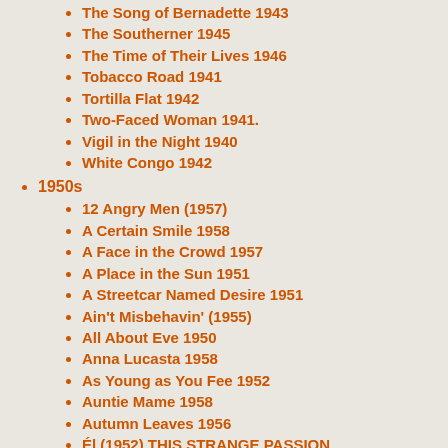The Song of Bernadette 1943
The Southerner 1945
The Time of Their Lives 1946
Tobacco Road 1941
Tortilla Flat 1942
Two-Faced Woman 1941.
Vigil in the Night 1940
White Congo 1942
1950s
12 Angry Men (1957)
A Certain Smile 1958
A Face in the Crowd 1957
A Place in the Sun 1951
A Streetcar Named Desire 1951
Ain't Misbehavin' (1955)
All About Eve 1950
Anna Lucasta 1958
As Young as You Fee 1952
Auntie Mame 1958
Autumn Leaves 1956
Él (1952) THIS STRANGE PASSION
Baby Doll (1956)
Baby Doll 1956
Bernice Edgar -"A decent woman don't have need for any man."